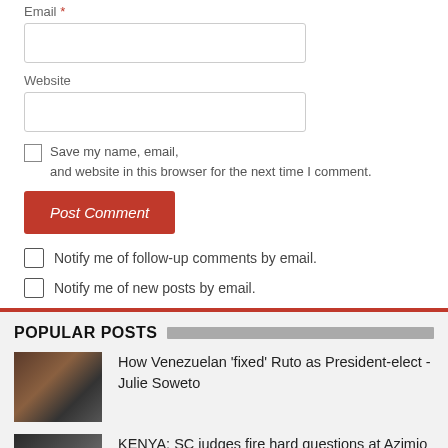Email *
Website
Save my name, email, and website in this browser for the next time I comment.
Post Comment
Notify me of follow-up comments by email.
Notify me of new posts by email.
POPULAR POSTS
How Venezuelan 'fixed' Ruto as President-elect - Julie Soweto
KENYA: SC judges fire hard questions at Azimio lawyers
Chopper interrupts former minister Kanyomozi's burial